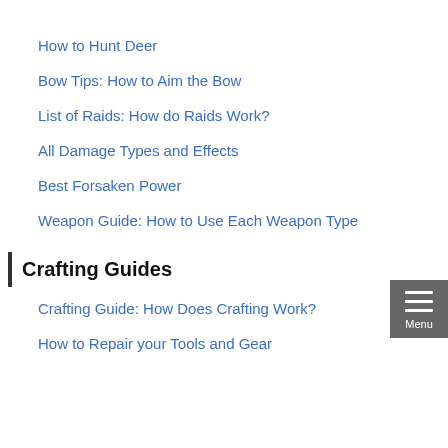How to Hunt Deer
Bow Tips: How to Aim the Bow
List of Raids: How do Raids Work?
All Damage Types and Effects
Best Forsaken Power
Weapon Guide: How to Use Each Weapon Type
Crafting Guides
Crafting Guide: How Does Crafting Work?
How to Repair your Tools and Gear